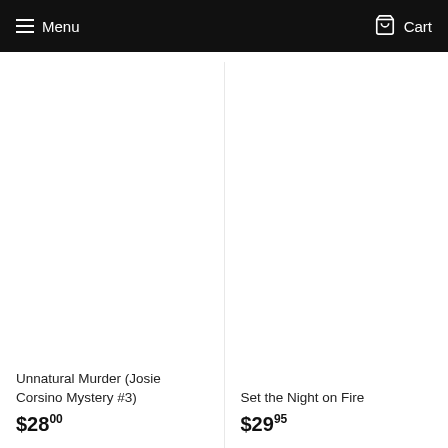Menu  Cart
Unnatural Murder (Josie Corsino Mystery #3)
$28.00
Set the Night on Fire
$29.95